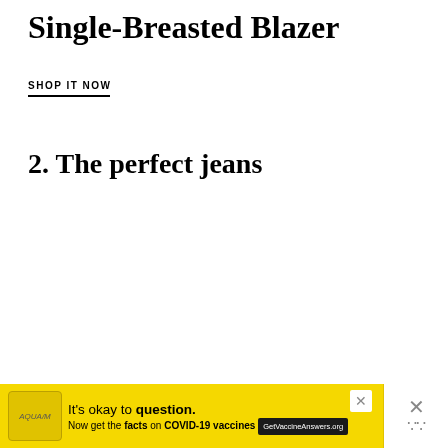Single-Breasted Blazer
SHOP IT NOW
2. The perfect jeans
[Figure (screenshot): Instagram embed card for abercrombie account with 4.9M followers and a View profile button, showing a photo of a woman wearing dark clothing and sunglasses, standing in front of a grey garage door with brick wall visible, with a TOP navigation button overlay and a yellow COVID-19 vaccine advertisement banner at the bottom.]